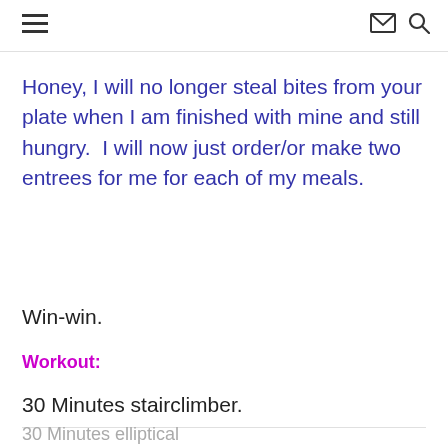[hamburger menu icon] [envelope icon] [search icon]
Honey, I will no longer steal bites from your plate when I am finished with mine and still hungry.  I will now just order/or make two entrees for me for each of my meals.
Win-win.
Workout:
30 Minutes stairclimber.
30 Minutes elliptical